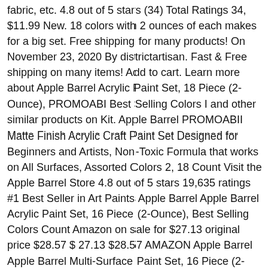fabric, etc. 4.8 out of 5 stars (34) Total Ratings 34, $11.99 New. 18 colors with 2 ounces of each makes for a big set. Free shipping for many products! On November 23, 2020 By districtartisan. Fast & Free shipping on many items! Add to cart. Learn more about Apple Barrel Acrylic Paint Set, 18 Piece (2-Ounce), PROMOABI Best Selling Colors I and other similar products on Kit. Apple Barrel PROMOABII Matte Finish Acrylic Craft Paint Set Designed for Beginners and Artists, Non-Toxic Formula that works on All Surfaces, Assorted Colors 2, 18 Count Visit the Apple Barrel Store 4.8 out of 5 stars 19,635 ratings #1 Best Seller in Art Paints Apple Barrel Apple Barrel Acrylic Paint Set, 16 Piece (2-Ounce), Best Selling Colors Count Amazon on sale for $27.13 original price $28.57 $ 27.13 $28.57 AMAZON Apple Barrel Apple Barrel Multi-Surface Paint Set, 16 Piece (2-Ounce), Best Selling Colors Amazon $ 31.72 From The Manufacturer. The smooth texture, vibrant colors, wide array of hues and top quality performance will guarantee the happiest of recipients. I cannot create a chart to convert every paint brand out there and the reality is you can't 100% convert a craft acrylic paint brand to an artist acrylic paint because